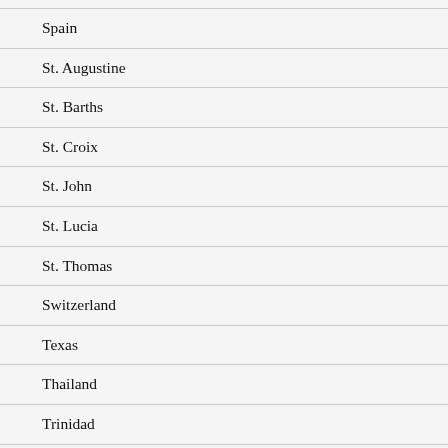Spain
St. Augustine
St. Barths
St. Croix
St. John
St. Lucia
St. Thomas
Switzerland
Texas
Thailand
Trinidad
Turkey
Turks and Caicos